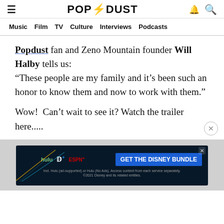POPDUST
Music  Film  TV  Culture  Interviews  Podcasts
Popdust fan and Zeno Mountain founder Will Halby tells us: “These people are my family and it’s been such an honor to know them and now to work with them.”

Wow!  Can’t wait to see it? Watch the trailer here.....
[Figure (infographic): Disney Bundle advertisement banner showing Hulu, Disney+, and ESPN+ logos with 'GET THE DISNEY BUNDLE' call to action on dark background. Fine print: Incl. Hulu (ad-supported) or Hulu (No Ads). Access content from each service separately. ©2021 Disney and its related entities.]